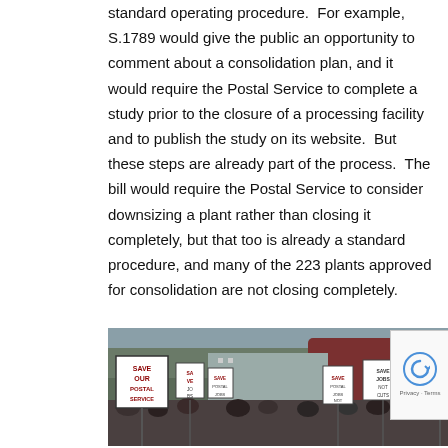standard operating procedure.  For example, S.1789 would give the public an opportunity to comment about a consolidation plan, and it would require the Postal Service to complete a study prior to the closure of a processing facility and to publish the study on its website.  But these steps are already part of the process.  The bill would require the Postal Service to consider downsizing a plant rather than closing it completely, but that too is already a standard procedure, and many of the 223 plants approved for consolidation are not closing completely.
[Figure (photo): Protest crowd holding signs saying 'Save Our Postal Service', 'Save the People's Postal Service Day Delivery', and other pro-postal service signs]